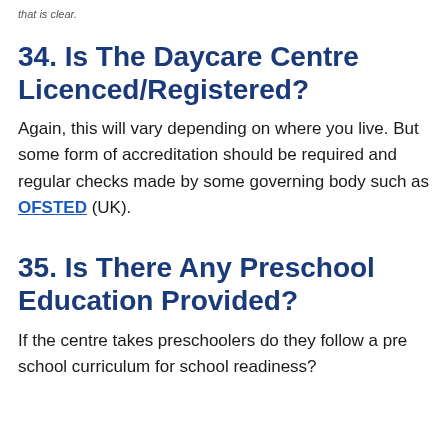34. Is The Daycare Centre Licenced/Registered?
Again, this will vary depending on where you live. But some form of accreditation should be required and regular checks made by some governing body such as OFSTED (UK).
35. Is There Any Preschool Education Provided?
If the centre takes preschoolers do they follow a pre school curriculum for school readiness?